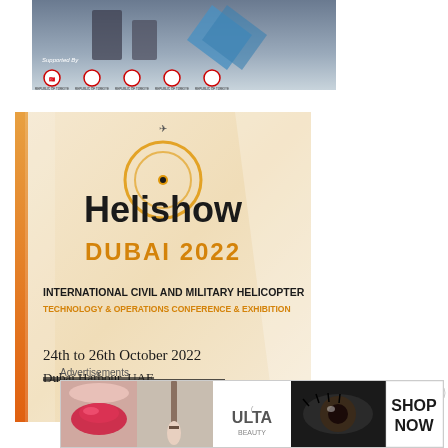[Figure (photo): Top banner showing military/event imagery with 'Supported By' text and five Turkish government ministry circular logos at the bottom]
[Figure (infographic): Helishow Dubai 2022 advertisement with logo, text 'INTERNATIONAL CIVIL AND MILITARY HELICOPTER TECHNOLOGY & OPERATIONS CONFERENCE & EXHIBITION', date '24th to 26th October 2022', location 'Dubai Harbour, UAE', on cream/orange background]
Advertisements
[Figure (photo): ULTA beauty advertisement banner showing makeup/beauty images including lips, makeup brush, eyes, and ULTA logo with 'SHOP NOW' text]